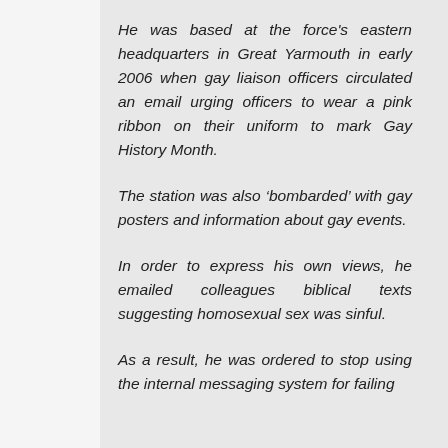He was based at the force's eastern headquarters in Great Yarmouth in early 2006 when gay liaison officers circulated an email urging officers to wear a pink ribbon on their uniform to mark Gay History Month.
The station was also ‘bombarded’ with gay posters and information about gay events.
In order to express his own views, he emailed colleagues biblical texts suggesting homosexual sex was sinful.
As a result, he was ordered to stop using the internal messaging system for failing